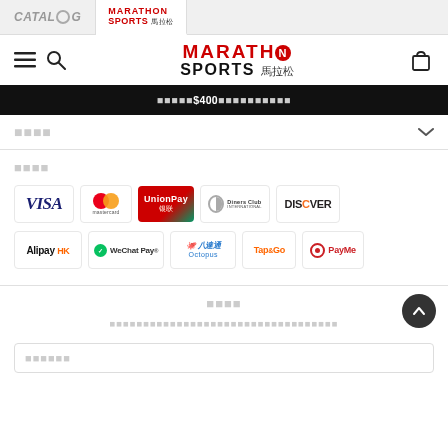CATALOG | MARATHON SPORTS 馬拉松
[Figure (logo): Marathon Sports logo with Chinese characters 馬拉松, red text]
■■■■■$400■■■■■■■■■■
■■■■
■■■■
[Figure (infographic): Payment method logos: VISA, Mastercard, UnionPay, Diners Club International, DISCOVER, Alipay HK, WeChat Pay, Octopus 八達通, Tap&Go, PayMe]
■■■■
■■■■■■■■■■■■■■■■■■■■■■■■■■■■■■■■■■
■■■■■■